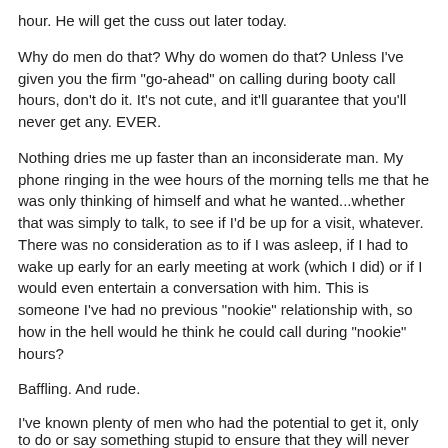hour. He will get the cuss out later today.
Why do men do that? Why do women do that? Unless I've given you the firm "go-ahead" on calling during booty call hours, don't do it. It's not cute, and it'll guarantee that you'll never get any. EVER.
Nothing dries me up faster than an inconsiderate man. My phone ringing in the wee hours of the morning tells me that he was only thinking of himself and what he wanted...whether that was simply to talk, to see if I'd be up for a visit, whatever. There was no consideration as to if I was asleep, if I had to wake up early for an early meeting at work (which I did) or if I would even entertain a conversation with him. This is someone I've had no previous "nookie" relationship with, so how in the hell would he think he could call during "nookie" hours?
Baffling. And rude.
I've known plenty of men who had the potential to get it, only to do or say something stupid to ensure that they will never